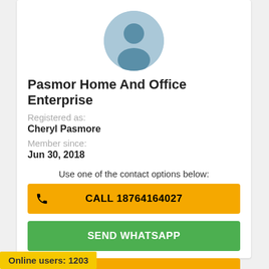[Figure (illustration): Generic user profile avatar icon — a silhouette of a person in a blue-grey circle]
Pasmor Home And Office Enterprise
Registered as:
Cheryl Pasmore
Member since:
Jun 30, 2018
Use one of the contact options below:
CALL 18764164027
SEND WHATSAPP
MAKE AN OFFER TO BUY
Online users: 1203